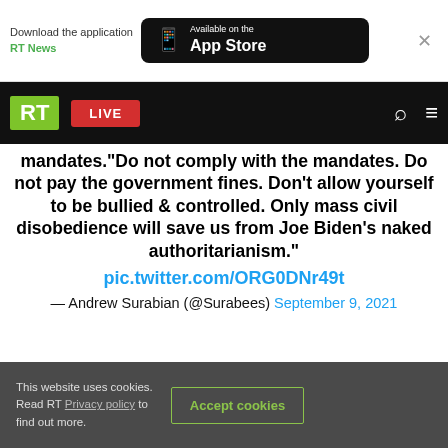[Figure (screenshot): RT News app download banner with 'Download the application RT News' text and App Store button]
[Figure (screenshot): RT website navigation bar with green RT logo, red LIVE button, search icon, and hamburger menu]
mandates."Do not comply with the mandates. Do not pay the government fines. Don't allow yourself to be bullied & controlled. Only mass civil disobedience will save us from Joe Biden's naked authoritarianism." pic.twitter.com/ORG0DNr49t
— Andrew Surabian (@Surabees) September 9, 2021
This website uses cookies. Read RT Privacy policy to find out more. Accept cookies